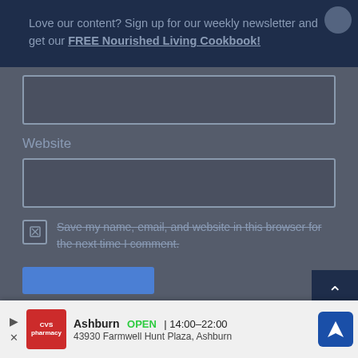Love our content? Sign up for our weekly newsletter and get our FREE Nourished Living Cookbook!
[Figure (screenshot): Email input field (empty text box)]
Website
[Figure (screenshot): Website URL input field (empty text box)]
Save my name, email, and website in this browser for the next time I comment.
Ashburn  OPEN | 14:00–22:00  43930 Farmwell Hunt Plaza, Ashburn